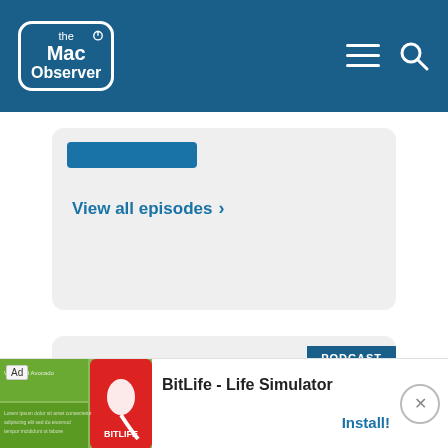The Mac Observer
View all episodes ›
[Figure (logo): PODCAST badge with gear/cog logo and text CONT... (partial, cut off)]
[Figure (screenshot): Ad bar: BitLife - Life Simulator app advertisement with Install button and green/app store imagery]